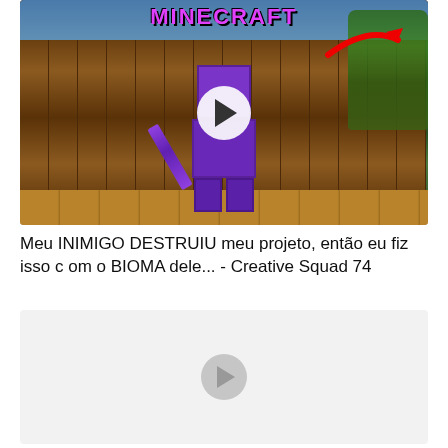[Figure (screenshot): Minecraft YouTube video thumbnail showing a purple-armored player character holding a purple sword, standing in a forest biome with logs/trees in background. A red arrow points to a structure in the top right. The text 'MINECRAFT' appears at the top of the thumbnail. A white play button circle is overlaid in the center.]
Meu INIMIGO DESTRUIU meu projeto, então eu fiz isso com o BIOMA dele... - Creative Squad 74
[Figure (screenshot): A second video thumbnail placeholder showing a light gray/white rectangle with a faint gray play button circle in the center, indicating a loading or empty video thumbnail.]